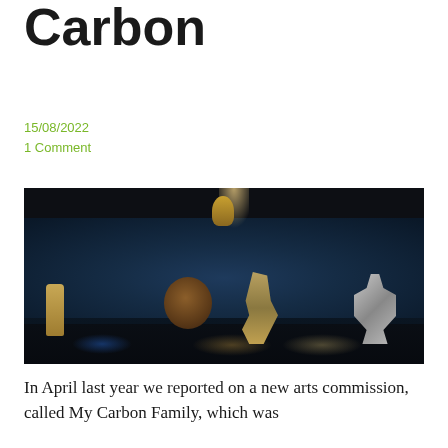Carbon
15/08/2022
1 Comment
[Figure (photo): Exhibition room showing several sculptures lit dramatically against a dark blue background. Sculptures include a small golden figure on the left, a large round disk form in the center-left, a tall angular geometric figure in the center, and a kneeling metallic figure on the right. A small golden figure is also visible near the ceiling top center.]
In April last year we reported on a new arts commission, called My Carbon Family, which was